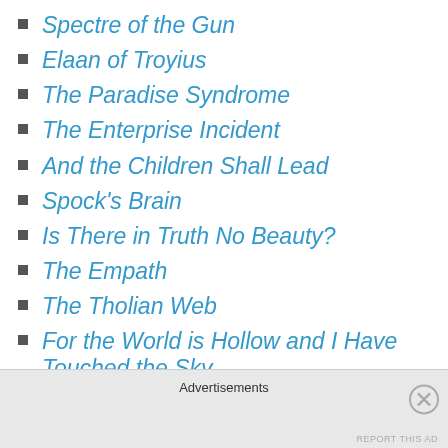Spectre of the Gun
Elaan of Troyius
The Paradise Syndrome
The Enterprise Incident
And the Children Shall Lead
Spock's Brain
Is There in Truth No Beauty?
The Empath
The Tholian Web
For the World is Hollow and I Have Touched the Sky
Day of the Dove
Plato's Stepchildren
Wink of an Eye
Advertisements
REPORT THIS AD